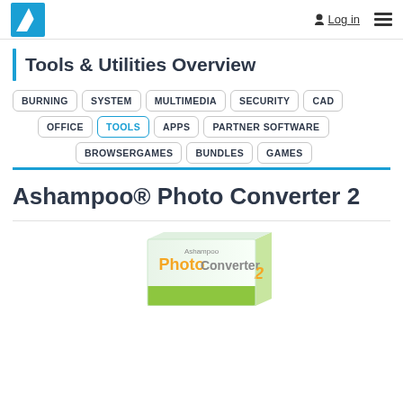Log in [hamburger menu]
Tools & Utilities Overview
BURNING
SYSTEM
MULTIMEDIA
SECURITY
CAD
OFFICE
TOOLS
APPS
PARTNER SOFTWARE
BROWSERGAMES
BUNDLES
GAMES
Ashampoo® Photo Converter 2
[Figure (photo): Ashampoo Photo Converter 2 product box with yellow and green branding showing 'PhotoConverter 2' text]